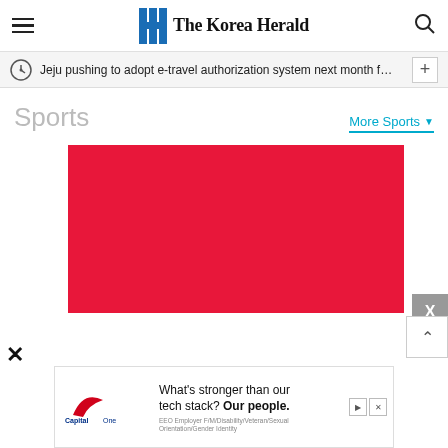The Korea Herald
Jeju pushing to adopt e-travel authorization system next month f…
Sports
More Sports
[Figure (other): Red advertisement banner placeholder]
[Figure (other): Capital One advertisement banner: What's stronger than our tech stack? Our people. EEO Employer F/M/Disability/Veteran/Sexual Orientation/Gender Identity]